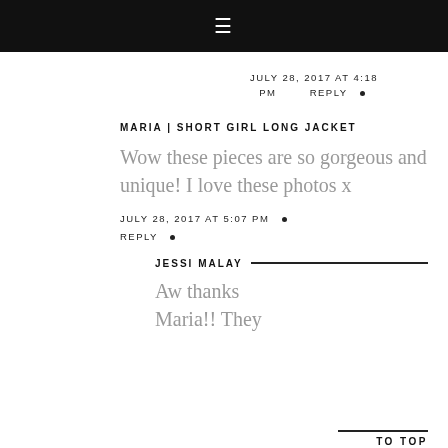≡
JULY 28, 2017 AT 4:18 PM • REPLY •
MARIA | SHORT GIRL LONG JACKET
Wow these pieces are so gorgeous and unique! I love these photos x
JULY 28, 2017 AT 5:07 PM • REPLY •
TO TOP
JESSI MALAY
Aw thanks Maria!! They